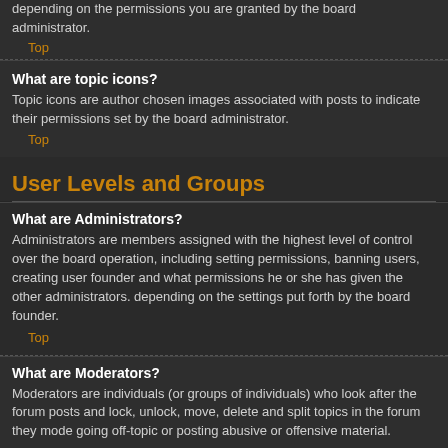depending on the permissions you are granted by the board administrator.
Top
What are topic icons?
Topic icons are author chosen images associated with posts to indicate their permissions set by the board administrator.
Top
User Levels and Groups
What are Administrators?
Administrators are members assigned with the highest level of control over the board operation, including setting permissions, banning users, creating user founder and what permissions he or she has given the other administrators. depending on the settings put forth by the board founder.
Top
What are Moderators?
Moderators are individuals (or groups of individuals) who look after the forum posts and lock, unlock, move, delete and split topics in the forum they mode going off-topic or posting abusive or offensive material.
Top
What are usergroups?
Usergroups are groups of users that divide the community into manageable